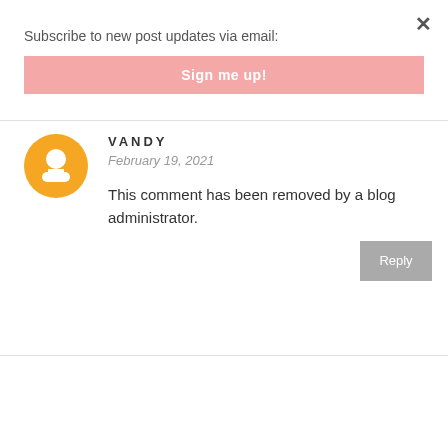Subscribe to new post updates via email:
Sign me up!
×
VANDY
February 19, 2021
This comment has been removed by a blog administrator.
Reply